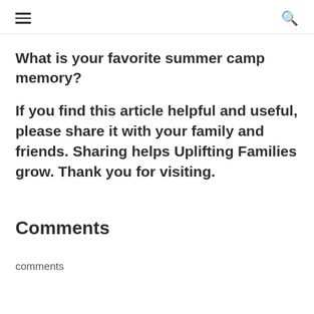☰ 🔍
What is your favorite summer camp memory?
If you find this article helpful and useful, please share it with your family and friends. Sharing helps Uplifting Families grow. Thank you for visiting.
Comments
comments